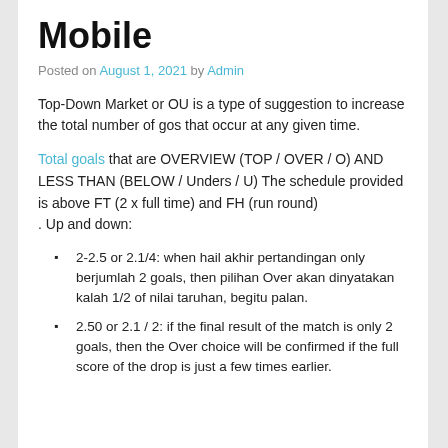Mobile
Posted on August 1, 2021 by Admin
Top-Down Market or OU is a type of suggestion to increase the total number of gos that occur at any given time.
Total goals that are OVERVIEW (TOP / OVER / O) AND LESS THAN (BELOW / Unders / U) The schedule provided is above FT (2 x full time) and FH (run round)
. Up and down:
2-2.5 or 2.1/4: when hail akhir pertandingan only berjumlah 2 goals, then pilihan Over akan dinyatakan kalah 1/2 of nilai taruhan, begitu palan.
2.50 or 2.1 / 2: if the final result of the match is only 2 goals, then the Over choice will be confirmed if the full score of the drop is just a few times earlier.